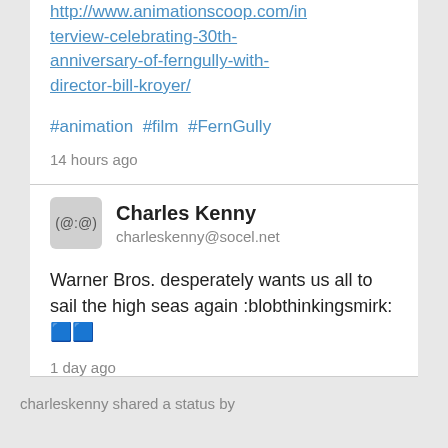http://www.animationscoop.com/interview-celebrating-30th-anniversary-of-ferngully-with-director-bill-kroyer/
#animation #film #FernGully
14 hours ago
Charles Kenny
charleskenny@socel.net
Warner Bros. desperately wants us all to sail the high seas again :blobthinkingsmirk: 🟦🟦
1 day ago
charleskenny shared a status by